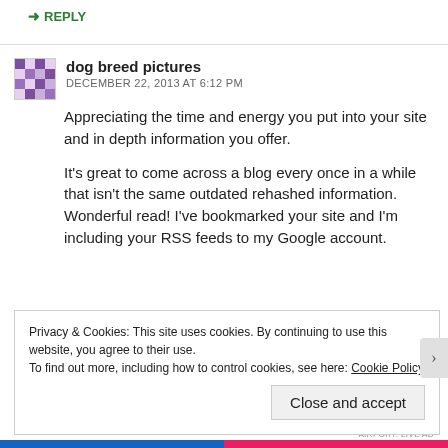↳ REPLY
dog breed pictures
DECEMBER 22, 2013 AT 6:12 PM
Appreciating the time and energy you put into your site and in depth information you offer.

It's great to come across a blog every once in a while that isn't the same outdated rehashed information.
Wonderful read! I've bookmarked your site and I'm including your RSS feeds to my Google account.
Privacy & Cookies: This site uses cookies. By continuing to use this website, you agree to their use.
To find out more, including how to control cookies, see here: Cookie Policy
Close and accept